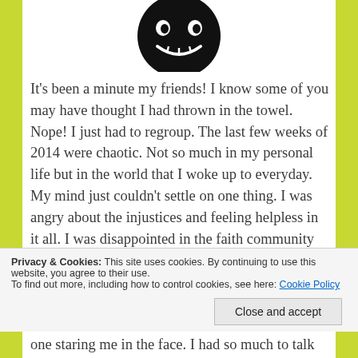[Figure (logo): Circular black logo with a stylized face/monster design at the top of the page]
It's been a minute my friends! I know some of you may have thought I had thrown in the towel. Nope! I just had to regroup. The last few weeks of 2014 were chaotic. Not so much in my personal life but in the world that I woke up to everyday. My mind just couldn't settle on one thing. I was angry about the injustices and feeling helpless in it all. I was disappointed in the faith community that I hold in high regard and want to see as leaders beyond
Privacy & Cookies: This site uses cookies. By continuing to use this website, you agree to their use.
To find out more, including how to control cookies, see here: Cookie Policy
one staring me in the face. I had so much to talk